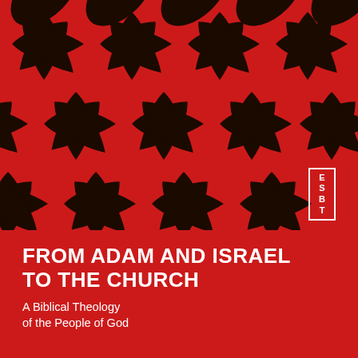[Figure (illustration): Abstract geometric pattern of overlapping black leaf/petal shapes on a red background, arranged in a repeating tessellated design filling the upper two-thirds of the book cover.]
FROM ADAM AND ISRAEL TO THE CHURCH
A Biblical Theology of the People of God